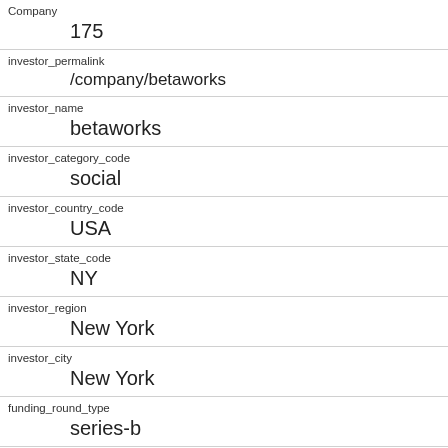| Field | Value |
| --- | --- |
| Company | 175 |
| investor_permalink | /company/betaworks |
| investor_name | betaworks |
| investor_category_code | social |
| investor_country_code | USA |
| investor_state_code | NY |
| investor_region | New York |
| investor_city | New York |
| funding_round_type | series-b |
| funded_at | 1286496000 |
| funded_year |  |